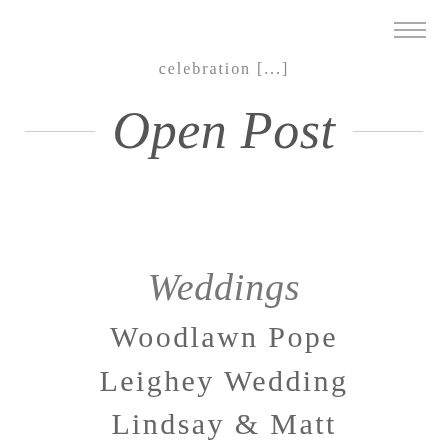celebration [...]
Open Post
Weddings
Woodlawn Pope Leighey Wedding Lindsay & Matt